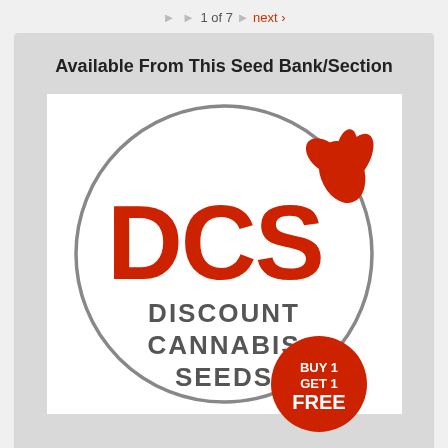1 of 7  next ›
Available From This Seed Bank/Section
[Figure (logo): DCS Discount Cannabis Seeds logo — circular grey border enclosing red DCS letters with cannabis leaf graphic and DISCOUNT CANNABIS SEEDS text, plus a red circular badge saying BUY 1 GET 1 FREE]
The DCS range offers great cannabis seed strains at the best value price. We buy quality strains in Bulk and package them in affordable pack sizes....
more info >